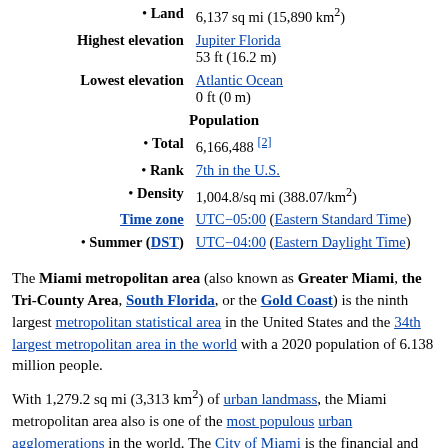| Label | Value |
| --- | --- |
| • Land | 6,137 sq mi (15,890 km²) |
| Highest elevation | Jupiter Florida
53 ft (16.2 m) |
| Lowest elevation | Atlantic Ocean
0 ft (0 m) |
| Population |  |
| • Total | 6,166,488 [2] |
| • Rank | 7th in the U.S. |
| • Density | 1,004.8/sq mi (388.07/km²) |
| Time zone | UTC−05:00 (Eastern Standard Time) |
| • Summer (DST) | UTC−04:00 (Eastern Daylight Time) |
The Miami metropolitan area (also known as Greater Miami, the Tri-County Area, South Florida, or the Gold Coast) is the ninth largest metropolitan statistical area in the United States and the 34th largest metropolitan area in the world with a 2020 population of 6.138 million people.
With 1,279.2 sq mi (3,313 km²) of urban landmass, the Miami metropolitan area also is one of the most populous urban agglomerations in the world. The City of Miami is the financial and cultural core of the metropolis. The metropolitan area includes